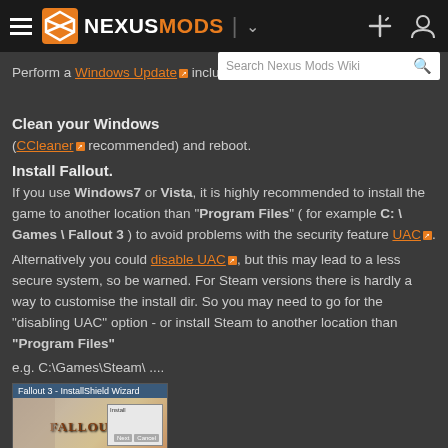Nexus Mods
Perform a Windows Update including DirectX
Clean your Windows
(CCleaner recommended) and reboot.
Install Fallout.
If you use Windows7 or Vista, it is highly recommended to install the game to another location than "Program Files" ( for example C: \ Games \ Fallout 3 ) to avoid problems with the security feature UAC.
Alternatively you could disable UAC, but this may lead to a less secure system, so be warned. For Steam versions there is hardly a way to customise the install dir. So you may need to go for the "disabling UAC" option - or install Steam to another location than "Program Files"
e.g. C:\Games\Steam\ ....
[Figure (screenshot): Screenshot of Fallout 3 InstallShield Wizard dialog]